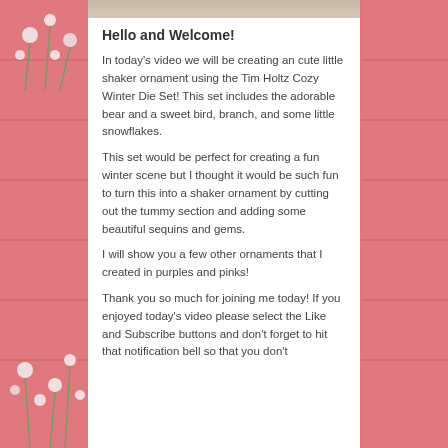[Figure (photo): Top portion of a photo showing a person or crafting scene, cropped at the top of the card.]
Hello and Welcome!
In today's video we will be creating an cute little shaker ornament using the Tim Holtz Cozy Winter Die Set! This set includes the adorable bear and a sweet bird, branch, and some little snowflakes.
This set would be perfect for creating a fun winter scene but I thought it would be such fun to turn this into a shaker ornament by cutting out the tummy section and adding some beautiful sequins and gems.
I will show you a few other ornaments that I created in purples and pinks!
Thank you so much for joining me today! If you enjoyed today's video please select the Like and Subscribe buttons and don't forget to hit that notification bell so that you don't